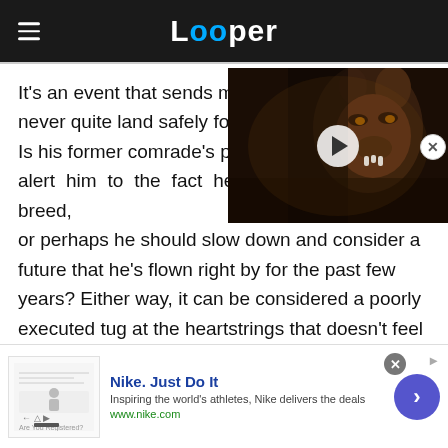Looper
[Figure (screenshot): Video thumbnail showing a werewolf creature with fangs, dark fantasy scene with play button overlay]
It's an event that sends mix... never quite land safely for M... Is his former comrade's pas... alert him to the fact he's the last of a dying breed, or perhaps he should slow down and consider a future that he's flown right by for the past few years? Either way, it can be considered a poorly executed tug at the heartstrings that doesn't feel warranted. Additionally, this makes the possibility o...
[Figure (screenshot): Nike advertisement banner: 'Nike. Just Do It' - Inspiring the world's athletes, Nike delivers the deals - www.nike.com]